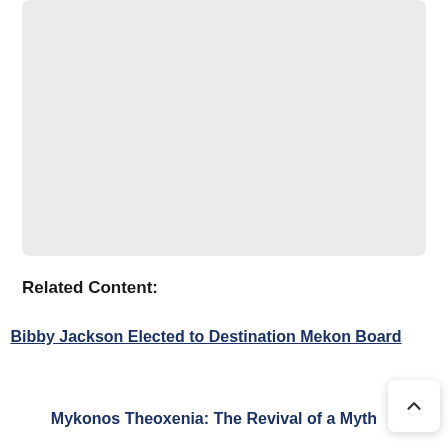[Figure (photo): Light gray rounded rectangle placeholder image area]
Related Content:
Bibby Jackson Elected to Destination Mekon Board
Mykonos Theoxenia: The Revival of a Myth